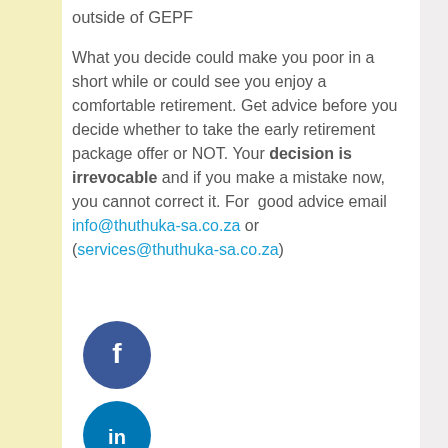outside of GEPF
What you decide could make you poor in a short while or could see you enjoy a comfortable retirement. Get advice before you decide whether to take the early retirement package offer or NOT. Your decision is irrevocable and if you make a mistake now, you cannot correct it. For good advice email info@thuthuka-sa.co.za or (services@thuthuka-sa.co.za)
[Figure (illustration): Social media icons: Facebook (dark blue circle with f), LinkedIn (blue circle with in), Twitter (light blue circle with bird), Google+ (red circle with g+)]